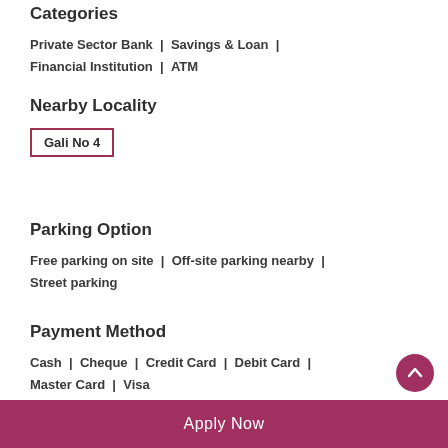Categories
Private Sector Bank  |  Savings & Loan  |  Financial Institution  |  ATM
Nearby Locality
Gali No 4
Parking Option
Free parking on site  |  Off-site parking nearby  |  Street parking
Payment Method
Cash  |  Cheque  |  Credit Card  |  Debit Card  |  Master Card  |  Visa
Apply Now